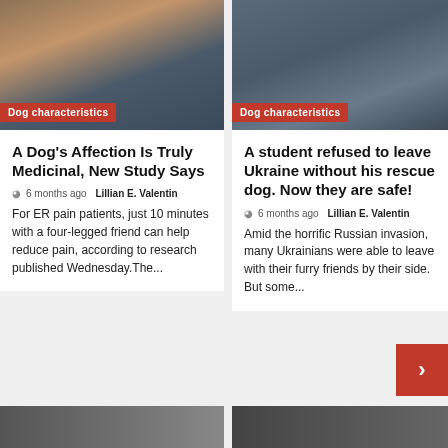[Figure (photo): Person with a dog, therapy dog visit scene]
Dog characteristics
[Figure (photo): Person holding a dog, rescue dog story]
Dog characteristics
A Dog's Affection Is Truly Medicinal, New Study Says
6 months ago Lillian E. Valentin
For ER pain patients, just 10 minutes with a four-legged friend can help reduce pain, according to research published Wednesday.The...
A student refused to leave Ukraine without his rescue dog. Now they are safe!
6 months ago Lillian E. Valentin
Amid the horrific Russian invasion, many Ukrainians were able to leave with their furry friends by their side. But some...
[Figure (photo): Bottom strip image left]
[Figure (photo): Bottom strip image right]